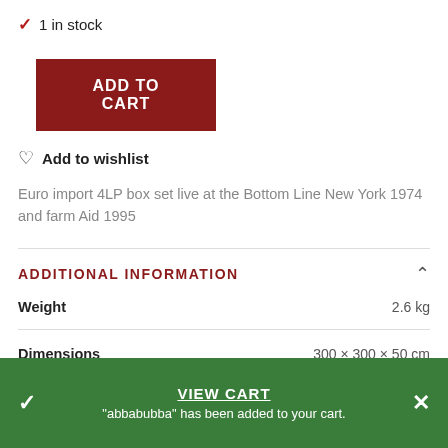✓ 1 in stock
ADD TO CART
♡ Add to wishlist
Euro import 4LP box set live at the Bottom Line New York 1974 and farm Aid 1995
ADDITIONAL INFORMATION
|  |  |
| --- | --- |
| Weight | 2.6 kg |
| Dimensions | 300 × 300 × 50 cm |
VIEW CART
"abbabubba" has been added to your cart.